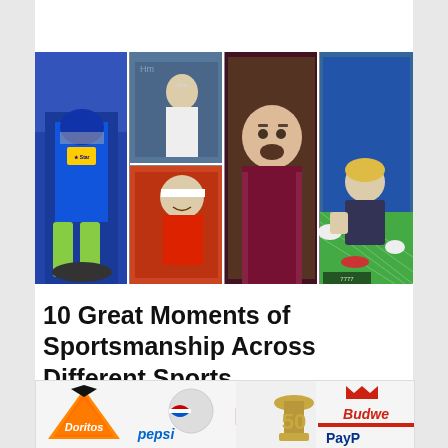[Figure (photo): Collage of sports moments showing a cricket player in blue India uniform, a man in a white shirt at an event, a tennis player in red, a man in dark red jacket speaking/celebrating, and a goalkeeper/soccer player bending down near a goal net.]
10 Great Moments of Sportsmanship Across Different Sports
[Figure (logo): Advertisement banner showing logos: Doritos (flame triangle logo), pepsi (blue circle logo), LG, Budweiser (partial), Super Bowl 50 trophy, PayPal (partial)]